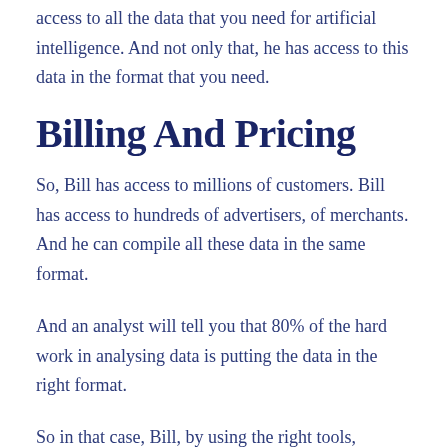access to all the data that you need for artificial intelligence. And not only that, he has access to this data in the format that you need.
Billing And Pricing
So, Bill has access to millions of customers. Bill has access to hundreds of advertisers, of merchants. And he can compile all these data in the same format.
And an analyst will tell you that 80% of the hard work in analysing data is putting the data in the right format.
So in that case, Bill, by using the right tools, artificial intelligence, machine learning, becomes a cool guy...